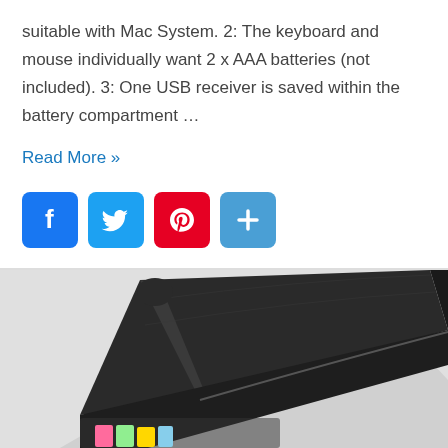suitable with Mac System. 2: The keyboard and mouse individually want 2 x AAA batteries (not included). 3: One USB receiver is saved within the battery compartment …
Read More »
[Figure (other): Social media share buttons: Facebook (blue), Twitter (light blue), Pinterest (red), and a generic share/plus button (blue)]
[Figure (photo): A black leather laptop bag or portfolio case shown open at an angle, revealing compartments with colorful items inside at the bottom]